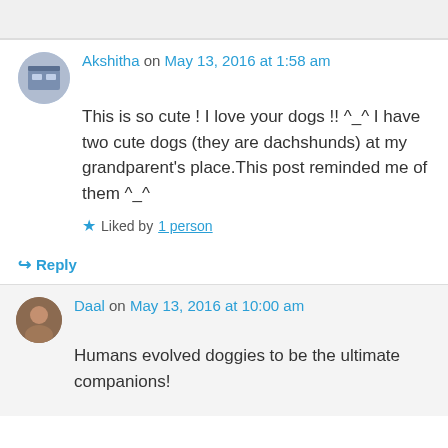Akshitha on May 13, 2016 at 1:58 am
This is so cute ! I love your dogs !! ^_^ I have two cute dogs (they are dachshunds) at my grandparent's place.This post reminded me of them ^_^
Liked by 1 person
Reply
Daal on May 13, 2016 at 10:00 am
Humans evolved doggies to be the ultimate companions!